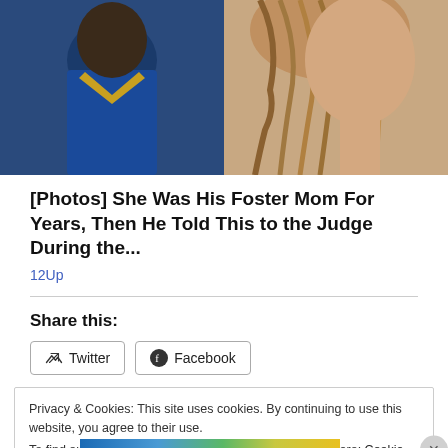[Figure (photo): Photo showing two people — a person wearing a blue and gold sports jersey on the left, and a person with long brown/blonde hair on the right]
[Photos] She Was His Foster Mom For Years, Then He Told This to the Judge During the...
12Up
Share this:
Twitter  Facebook
Privacy & Cookies: This site uses cookies. By continuing to use this website, you agree to their use.
To find out more, including how to control cookies, see here: Cookie Policy
Close and accept